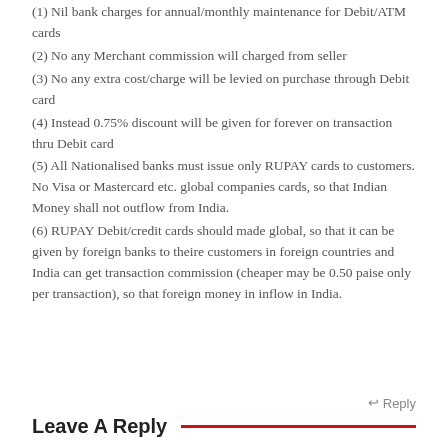(1) Nil bank charges for annual/monthly maintenance for Debit/ATM cards
(2) No any Merchant commission will charged from seller
(3) No any extra cost/charge will be levied on purchase through Debit card
(4) Instead 0.75% discount will be given for forever on transaction thru Debit card
(5) All Nationalised banks must issue only RUPAY cards to customers. No Visa or Mastercard etc. global companies cards, so that Indian Money shall not outflow from India.
(6) RUPAY Debit/credit cards should made global, so that it can be given by foreign banks to theire customers in foreign countries and India can get transaction commission (cheaper may be 0.50 paise only per transaction), so that foreign money in inflow in India.
Reply
Leave A Reply
Your email address will not be published.